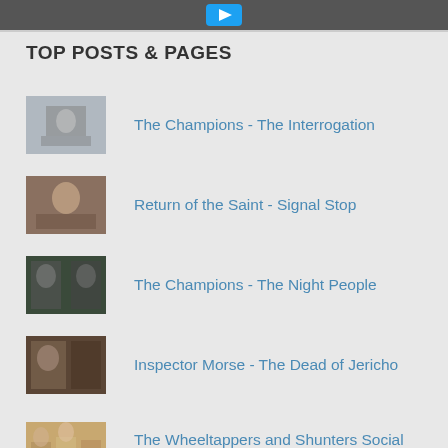[Figure (photo): Partial top image bar with dark background and blue play button icon]
TOP POSTS & PAGES
The Champions - The Interrogation
Return of the Saint - Signal Stop
The Champions - The Night People
Inspector Morse - The Dead of Jericho
The Wheeltappers and Shunters Social Club - 10th August 1974
About
The Champions - Shadow of the Beast